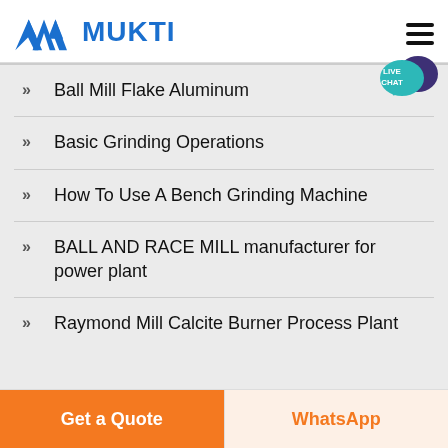MUKTI
Ball Mill Flake Aluminum
Basic Grinding Operations
How To Use A Bench Grinding Machine
BALL AND RACE MILL manufacturer for power plant
Raymond Mill Calcite Burner Process Plant
Get a Quote  WhatsApp